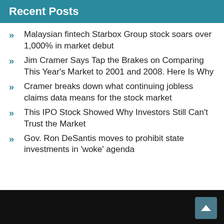Recent Posts
Malaysian fintech Starbox Group stock soars over 1,000% in market debut
Jim Cramer Says Tap the Brakes on Comparing This Year's Market to 2001 and 2008. Here Is Why
Cramer breaks down what continuing jobless claims data means for the stock market
This IPO Stock Showed Why Investors Still Can't Trust the Market
Gov. Ron DeSantis moves to prohibit state investments in 'woke' agenda